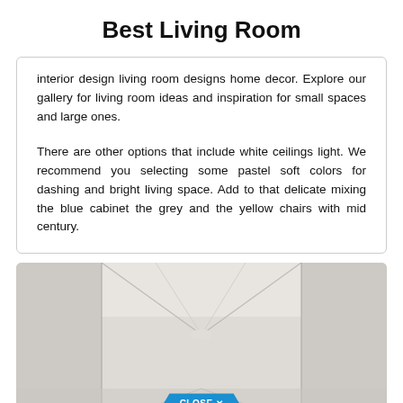Best Living Room
interior design living room designs home decor. Explore our gallery for living room ideas and inspiration for small spaces and large ones.
There are other options that include white ceilings light. We recommend you selecting some pastel soft colors for dashing and bright living space. Add to that delicate mixing the blue cabinet the grey and the yellow chairs with mid century.
[Figure (photo): Interior room photo showing a minimalist white room with geometric ceiling lines and a CLOSE X button overlay at the bottom center.]